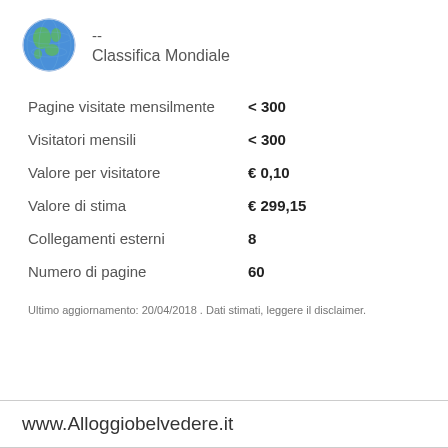[Figure (illustration): Globe/Earth icon in blue and green]
--
Classifica Mondiale
Pagine visitate mensilmente< 300
Visitatori mensili	< 300
Valore per visitatore	€ 0,10
Valore di stima	€ 299,15
Collegamenti esterni	8
Numero di pagine	60
Ultimo aggiornamento: 20/04/2018 . Dati stimati, leggere il disclaimer.
www.Alloggiobelvedere.it